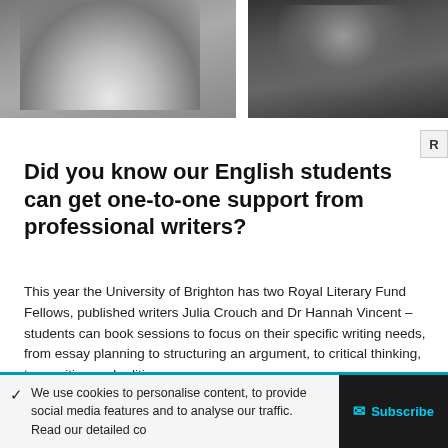[Figure (photo): Two black and white portrait photos side by side, partially cropped at top of page]
Did you know our English students can get one-to-one support from professional writers?
This year the University of Brighton has two Royal Literary Fund Fellows, published writers Julia Crouch and Dr Hannah Vincent – students can book sessions to focus on their specific writing needs, from essay planning to structuring an argument, to critical thinking, to rewriting and editing.
Lizzie Amati · October 15, 2020
✓  We use cookies to personalise content, to provide social media features and to analyse our traffic. Read our detailed co…